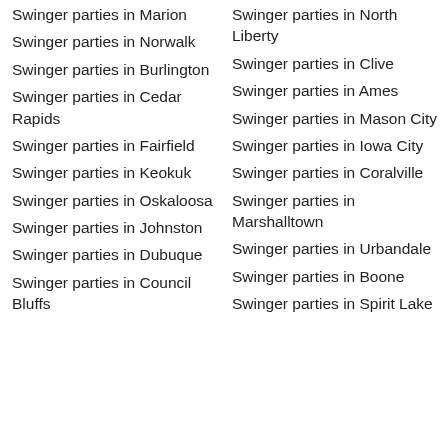Swinger parties in Marion
Swinger parties in Norwalk
Swinger parties in Burlington
Swinger parties in Cedar Rapids
Swinger parties in Fairfield
Swinger parties in Keokuk
Swinger parties in Oskaloosa
Swinger parties in Johnston
Swinger parties in Dubuque
Swinger parties in Council Bluffs
Swinger parties in North Liberty
Swinger parties in Clive
Swinger parties in Ames
Swinger parties in Mason City
Swinger parties in Iowa City
Swinger parties in Coralville
Swinger parties in Marshalltown
Swinger parties in Urbandale
Swinger parties in Boone
Swinger parties in Spirit Lake